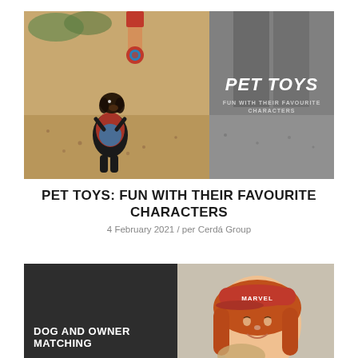[Figure (photo): Split image: left side shows a small dachshund dog in a red and blue outfit standing on hind legs on sandy ground, with a person holding a Spider-Man toy above; right side shows a person's legs in grey pants on sandy ground with overlay text 'PET TOYS / FUN WITH THEIR FAVOURITE CHARACTERS']
PET TOYS: FUN WITH THEIR FAVOURITE CHARACTERS
4 February 2021 / per Cerdá Group
[Figure (photo): Split image: left dark section with bold white text 'DOG AND OWNER MATCHING'; right section shows a smiling woman with long red hair wearing a red Marvel cap]